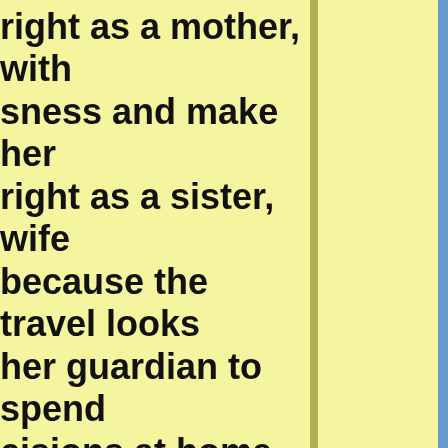right as a mother, with sness and make her right as a sister, wife because the travel looks her guardian to spend cisions at home except of what she possesses, e right to care for her erence between Islam f these rights is based ghty, and not fear of a vident in comparison to icular before Islam, the hm in) :Almighty said